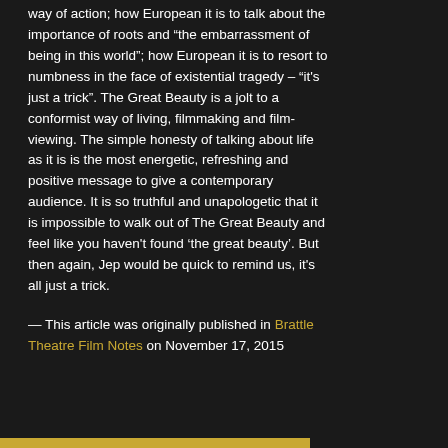way of action; how European it is to talk about the importance of roots and “the embarrassment of being in this world”; how European it is to resort to numbness in the face of existential tragedy – “it's just a trick”. The Great Beauty is a jolt to a conformist way of living, filmmaking and film-viewing. The simple honesty of talking about life as it is is the most energetic, refreshing and positive message to give a contemporary audience. It is so truthful and unapologetic that it is impossible to walk out of The Great Beauty and feel like you haven't found ‘the great beauty’. But then again, Jep would be quick to remind us, it's all just a trick.
— This article was originally published in Brattle Theatre Film Notes on November 17, 2015